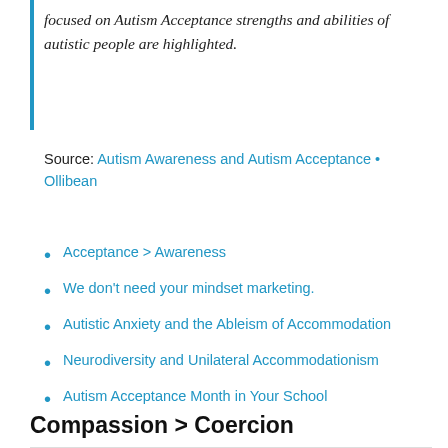focused on Autism Acceptance strengths and abilities of autistic people are highlighted.
Source: Autism Awareness and Autism Acceptance • Ollibean
Acceptance > Awareness
We don't need your mindset marketing.
Autistic Anxiety and the Ableism of Accommodation
Neurodiversity and Unilateral Accommodationism
Autism Acceptance Month in Your School
Compassion > Coercion